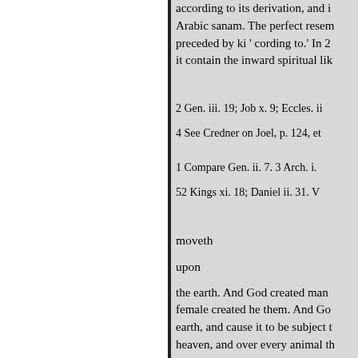according to its derivation, and i
Arabic sanam. The perfect resem
preceded by ki ' cording to.' In 2
it contain the inward spiritual lik
2 Gen. iii. 19; Job x. 9; Eccles. ii
4 See Credner on Joel, p. 124, et
1 Compare Gen. ii. 7. 3 Arch. i.
52 Kings xi. 18; Daniel ii. 31. V
moveth
upon
the earth. And God created man female created he them. And Go earth, and cause it to be subject t heaven, and over every animal th every seed-bearing herb, that is u bearing 30 trees; to you they sha